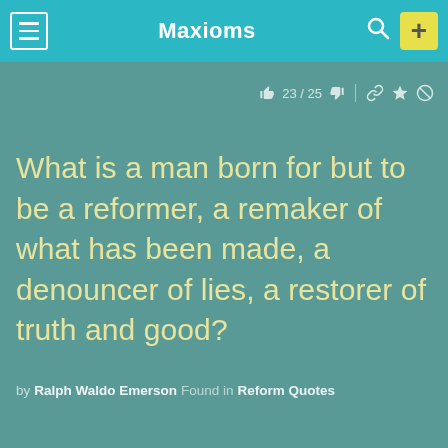Maxioms
23 / 25
What is a man born for but to be a reformer, a remaker of what has been made, a denouncer of lies, a restorer of truth and good?
by Ralph Waldo Emerson  Found in  Reform Quotes